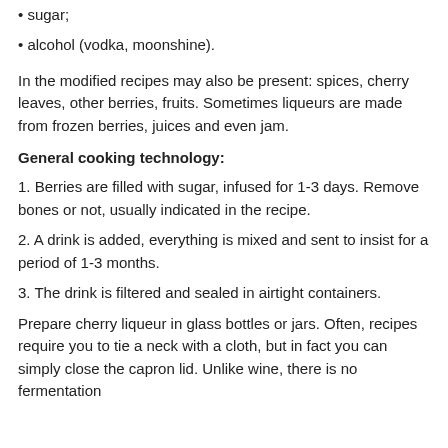• sugar;
• alcohol (vodka, moonshine).
In the modified recipes may also be present: spices, cherry leaves, other berries, fruits. Sometimes liqueurs are made from frozen berries, juices and even jam.
General cooking technology:
1. Berries are filled with sugar, infused for 1-3 days. Remove bones or not, usually indicated in the recipe.
2. A drink is added, everything is mixed and sent to insist for a period of 1-3 months.
3. The drink is filtered and sealed in airtight containers.
Prepare cherry liqueur in glass bottles or jars. Often, recipes require you to tie a neck with a cloth, but in fact you can simply close the capron lid. Unlike wine, there is no fermentation